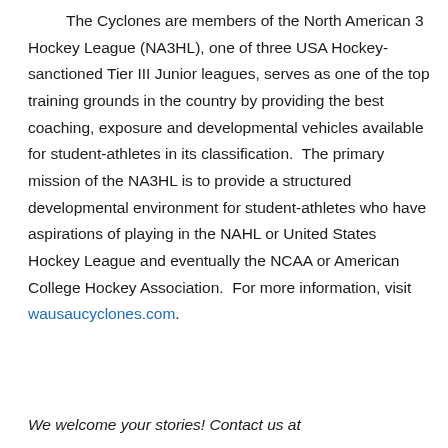The Cyclones are members of the North American 3 Hockey League (NA3HL), one of three USA Hockey-sanctioned Tier III Junior leagues, serves as one of the top training grounds in the country by providing the best coaching, exposure and developmental vehicles available for student-athletes in its classification.  The primary mission of the NA3HL is to provide a structured developmental environment for student-athletes who have aspirations of playing in the NAHL or United States Hockey League and eventually the NCAA or American College Hockey Association.  For more information, visit wausaucyclones.com.
We welcome your stories! Contact us at